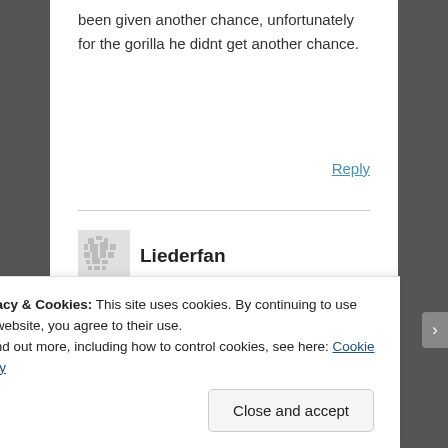been given another chance, unfortunately for the gorilla he didnt get another chance.
Reply
Liederfan
June 1, 2016 at 4:51 pm
Of all people involved, the family is the most responsible.
Privacy & Cookies: This site uses cookies. By continuing to use this website, you agree to their use.
To find out more, including how to control cookies, see here: Cookie Policy
Close and accept